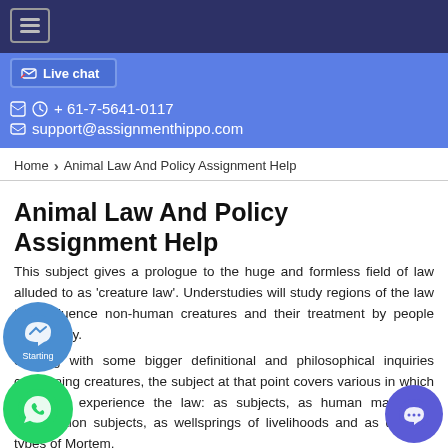☰ menu | Live chat | 📱 ⊕ + 61-7-5641-0117 | ✉ support@assignmenthippo.com
Home › Animal Law And Policy Assignment Help
Animal Law And Policy Assignment Help
This subject gives a prologue to the huge and formless field of law alluded to as 'creature law'. Understudies will study regions of the law that influence non-human creatures and their treatment by people specifically.
Starting with some bigger definitional and philosophical inquiries concerning creatures, the subject at that point covers various in which creatures experience the law: as subjects, as human mates, as examination subjects, as wellsprings of livelihoods and as different types of Mortem.